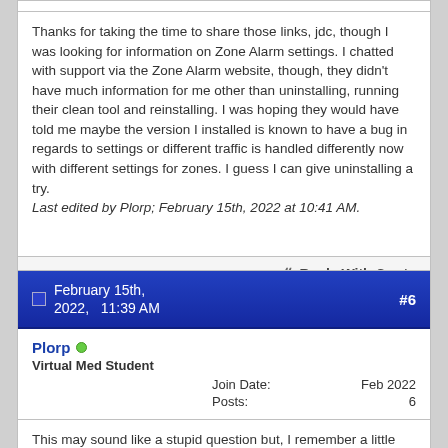Thanks for taking the time to share those links, jdc, though I was looking for information on Zone Alarm settings. I chatted with support via the Zone Alarm website, though, they didn't have much information for me other than uninstalling, running their clean tool and reinstalling. I was hoping they would have told me maybe the version I installed is known to have a bug in regards to settings or different traffic is handled differently now with different settings for zones. I guess I can give uninstalling a try.
Last edited by Plorp; February 15th, 2022 at 10:41 AM.
Reply With Quote
February 15th, 2022,   11:39 AM   #6
Plorp
Virtual Med Student
Join Date: Feb 2022
Posts: 6
This may sound like a stupid question but, I remember a little over a week ago, I right clicked a video file I saved while playing a game. I